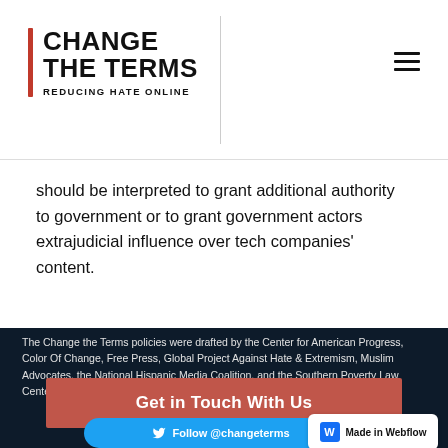CHANGE THE TERMS — REDUCING HATE ONLINE
should be interpreted to grant additional authority to government or to grant government actors extrajudicial influence over tech companies' content.
The Change the Terms policies were drafted by the Center for American Progress, Color Of Change, Free Press, Global Project Against Hate & Extremism, Muslim Advocates, the National Hispanic Media Coalition, and the Southern Poverty Law Center.
Get in Touch With Us
Follow @changeterms
Made in Webflow